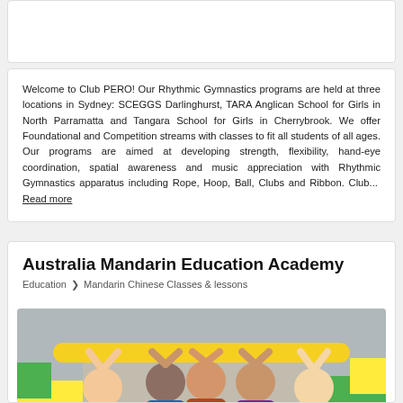Welcome to Club PERO! Our Rhythmic Gymnastics programs are held at three locations in Sydney: SCEGGS Darlinghurst, TARA Anglican School for Girls in North Parramatta and Tangara School for Girls in Cherrybrook. We offer Foundational and Competition streams with classes to fit all students of all ages. Our programs are aimed at developing strength, flexibility, hand-eye coordination, spatial awareness and music appreciation with Rhythmic Gymnastics apparatus including Rope, Hoop, Ball, Clubs and Ribbon. Club... Read more
Australia Mandarin Education Academy
Education > Mandarin Chinese Classes & lessons
[Figure (photo): Group of young children sitting together holding foam pool noodles above their heads, surrounded by colorful large building blocks. Children appear to be in a playful, educational setting.]